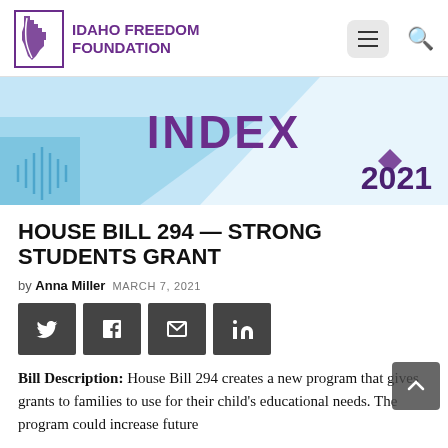Idaho Freedom Foundation
[Figure (illustration): Idaho Freedom Foundation logo with purple Idaho state silhouette and text, navigation menu button and search icon]
[Figure (illustration): Banner image with light blue geometric design and the word INDEX in purple, with 2021 in bottom right]
HOUSE BILL 294 — STRONG STUDENTS GRANT
by Anna Miller  MARCH 7, 2021
[Figure (infographic): Social sharing buttons: Twitter, Facebook, Email, LinkedIn]
Bill Description: House Bill 294 creates a new program that gives grants to families to use for their child's educational needs. The program could increase future spending by hundreds of millions...